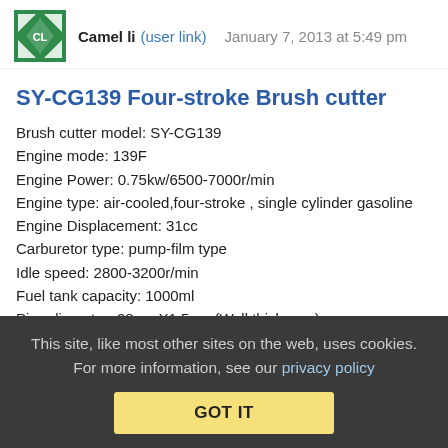Camel li (user link)  January 7, 2013 at 5:49 pm
SY-CG139 Four-stroke Brush cutter
Brush cutter model: SY-CG139
Engine mode: 139F
Engine Power: 0.75kw/6500-7000r/min
Engine type: air-cooled,four-stroke , single cylinder gasoline
Engine Displacement: 31cc
Carburetor type: pump-film type
Idle speed: 2800-3200r/min
Fuel tank capacity: 1000ml
Pipe diameter: 28mmX1.5mm(Wall thickness)
Inner spindle: 9TX8mm(diameter)
Engine N.W.: 4.0kg
Pipe N.W.: 3.0kg
Machine G.W.: 8.5KG
This site, like most other sites on the web, uses cookies. For more information, see our privacy policy
GOT IT